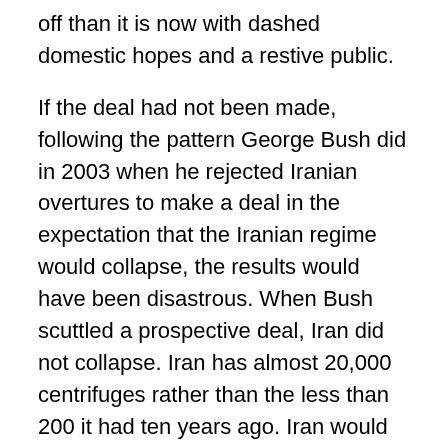off than it is now with dashed domestic hopes and a restive public.
If the deal had not been made, following the pattern George Bush did in 2003 when he rejected Iranian overtures to make a deal in the expectation that the Iranian regime would collapse, the results would have been disastrous. When Bush scuttled a prospective deal, Iran did not collapse. Iran has almost 20,000 centrifuges rather than the less than 200 it had ten years ago. Iran would be able to approach the breaking point without breaking into the production of nuclear weapons, thereby keeping the rest of the world on tenterhooks. If Israel attacked and even succeeded, Israel would likely be labelled the rogue state, not Iran. More seriously, Iran would feel free, and China and Russia would support Iran, to complete its nuclear program in order to defend itself